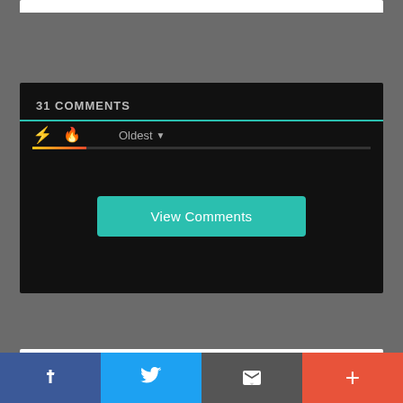[Figure (screenshot): Comments section widget with '31 COMMENTS' heading, teal underline, sort icons (bolt and fire), 'Oldest' dropdown, progress bar, and a teal 'View Comments' button on dark background]
[Figure (screenshot): Social share icons panel showing Facebook, RSS feed, and Twitter rounded square icons on white background]
[Figure (screenshot): Bottom social sharing bar with four equal sections: Facebook (blue), Twitter (blue), share/email (dark gray), and plus/more (orange-red)]